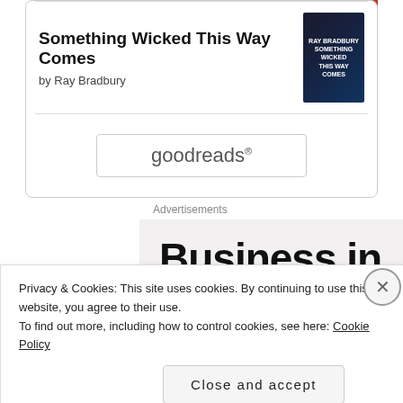[Figure (screenshot): Top portion of a book cover in red/dark tones, partially cropped at top of page]
Something Wicked This Way Comes
by Ray Bradbury
[Figure (logo): Goodreads logo inside a rounded rectangle button]
Advertisements
[Figure (screenshot): Advertisement with large bold text reading 'Business in the front']
Privacy & Cookies: This site uses cookies. By continuing to use this website, you agree to their use.
To find out more, including how to control cookies, see here: Cookie Policy
Close and accept